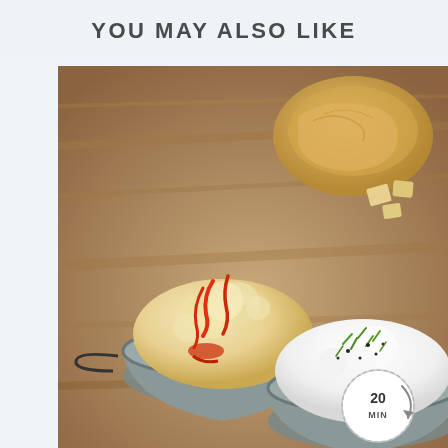YOU MAY ALSO LIKE
[Figure (photo): Two small metal serving pans filled with mashed/cauliflower dishes on a wooden surface. Left pan has orange/red hot sauce drizzled over the top. Right pan has white creamy mash topped with chopped green chives and black pepper. A bread roll and crumbled crackers visible in the background. A '20 MIN' circular timer badge overlaid in the bottom right corner.]